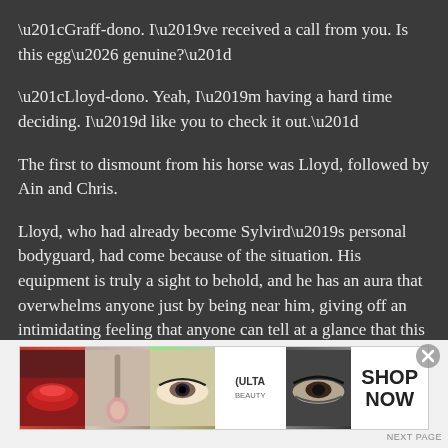“Graff-dono. I’ve received a call from you. Is this egg… genuine?”
“Lloyd-dono. Yeah, I’m having a hard time deciding. I’d like you to check it out.”
The first to dismount from his horse was Lloyd, followed by Ain and Chris.
Lloyd, who had already become Sylvird’s personal bodyguard, had come because of the situation. His equipment is truly a sight to behold, and he has an aura that overwhelms anyone just by being near him, giving off an intimidating feeling that anyone can tell at a glance that this is the man who has been the marshal
[Figure (photo): Advertisement banner for ULTA Beauty showing close-up images of lips with red lipstick, a makeup brush, an eye with makeup, the ULTA Beauty logo, an eye with dark makeup, and a SHOP NOW call to action button.]